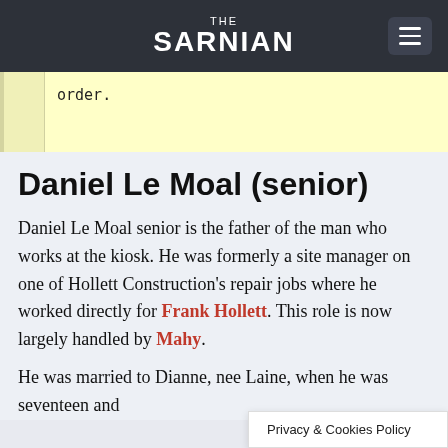THE SARNIAN
order.
Daniel Le Moal (senior)
Daniel Le Moal senior is the father of the man who works at the kiosk. He was formerly a site manager on one of Hollett Construction's repair jobs where he worked directly for Frank Hollett. This role is now largely handled by Mahy.
He was married to Dianne, nee Laine, when he was seventeen and [text continues] nd three [text continues]
Privacy & Cookies Policy